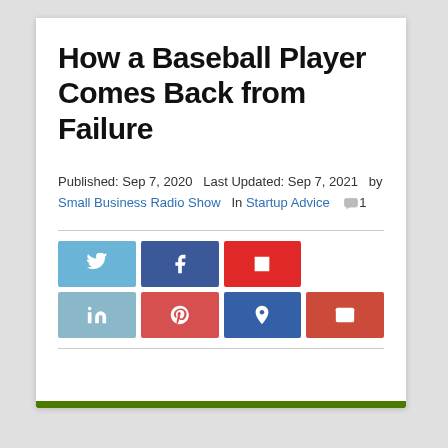How a Baseball Player Comes Back from Failure
Published: Sep 7, 2020   Last Updated: Sep 7, 2021   by Small Business Radio Show   In Startup Advice   1
[Figure (infographic): Social media share buttons: Twitter, Facebook, Flipboard (row 1); LinkedIn, Pinterest, Bookmark, Email (row 2)]